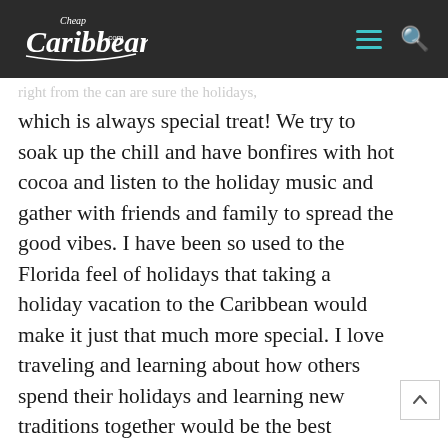Cheap Caribbean .com
which is always special treat! We try to soak up the chill and have bonfires with hot cocoa and listen to the holiday music and gather with friends and family to spread the good vibes. I have been so used to the Florida feel of holidays that taking a holiday vacation to the Caribbean would make it just that much more special. I love traveling and learning about how others spend their holidays and learning new traditions together would be the best holiday gift I could receive!